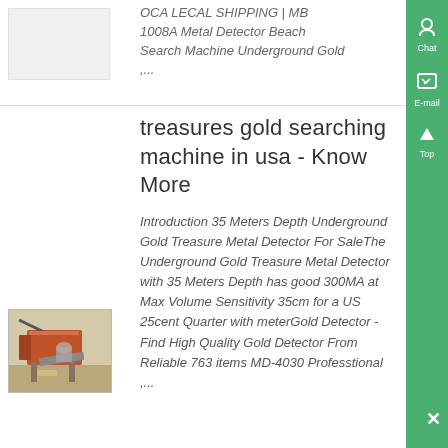OCA LECAL SHIPPING | MB 1008A Metal Detector Beach Search Machine Underground Gold ,...
[Figure (photo): Mining/processing machine equipment photo (top, partially visible)]
treasures gold searching machine in usa - Know More
[Figure (photo): Industrial gold searching/mining machine with mechanical arms and conveyor components]
Introduction 35 Meters Depth Underground Gold Treasure Metal Detector For SaleThe Underground Gold Treasure Metal Detector with 35 Meters Depth has good 300MA at Max Volume Sensitivity 35cm for a US 25cent Quarter with meterGold Detector - Find High Quality Gold Detector From Reliable 763 items MD-4030 Professtional ,...